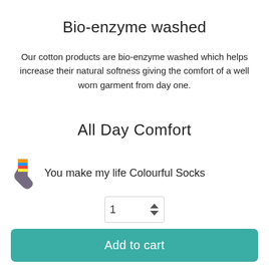Bio-enzyme washed
Our cotton products are bio-enzyme washed which helps increase their natural softness giving the comfort of a well worn garment from day one.
All Day Comfort
All our products are manufactured with care to enhance the
You make my life Colourful Socks
1
Add to cart